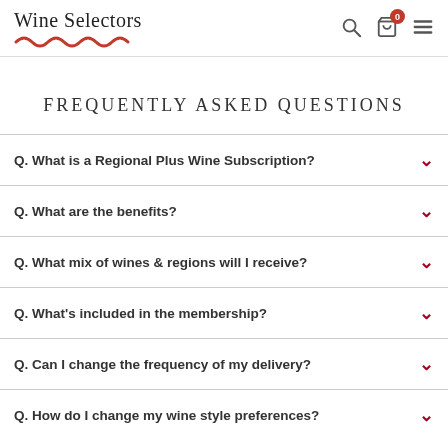Wine Selectors
FREQUENTLY ASKED QUESTIONS
Q. What is a Regional Plus Wine Subscription?
Q. What are the benefits?
Q. What mix of wines & regions will I receive?
Q. What's included in the membership?
Q. Can I change the frequency of my delivery?
Q. How do I change my wine style preferences?